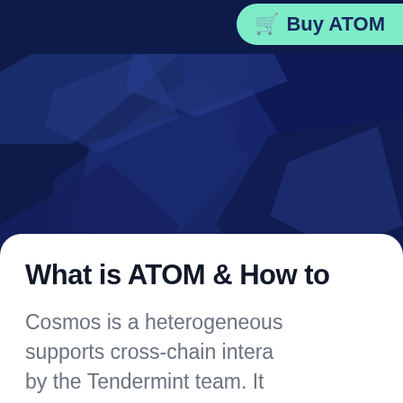[Figure (screenshot): Dark blue geometric/abstract background with angular shapes suggesting a futuristic blockchain/crypto aesthetic. A green rounded button labeled 'Buy ATOM' with a shopping cart icon is visible in the top right area.]
What is ATOM & How to
Cosmos is a heterogeneous supports cross-chain intera by the Tendermint team. It many independent parallel adopts the Tendermint con